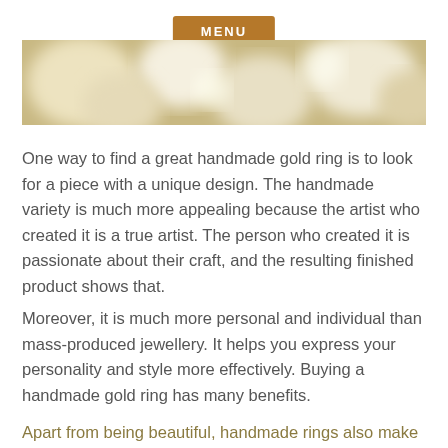MENU
[Figure (photo): Blurred bokeh background photo in warm beige and gold tones, showing soft circular light highlights]
One way to find a great handmade gold ring is to look for a piece with a unique design. The handmade variety is much more appealing because the artist who created it is a true artist. The person who created it is passionate about their craft, and the resulting finished product shows that.
Moreover, it is much more personal and individual than mass-produced jewellery. It helps you express your personality and style more effectively. Buying a handmade gold ring has many benefits.
Apart from being beautiful, handmade rings also make a good...